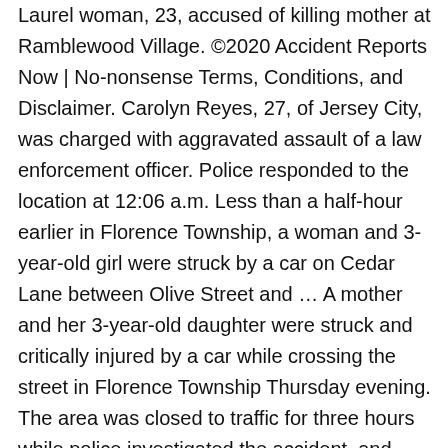Laurel woman, 23, accused of killing mother at Ramblewood Village. ©2020 Accident Reports Now | No-nonsense Terms, Conditions, and Disclaimer. Carolyn Reyes, 27, of Jersey City, was charged with aggravated assault of a law enforcement officer. Police responded to the location at 12:06 a.m. Less than a half-hour earlier in Florence Township, a woman and 3-year-old girl were struck by a car on Cedar Lane between Olive Street and … A mother and her 3-year-old daughter were struck and critically injured by a car while crossing the street in Florence Township Thursday evening. The area was closed to traffic for three hours while police investigated the accident, and officers will shut down the area again at some point when they reconstruct the crash, the chief said. Investigators believe that just after 4 a.m. Saturday, the rider lost control while turning from the highway onto the road. A mother and her 3-year-old daughter were struck and critically injured by a car while crossing the street in Florence Township Thursday evening. Woman pleads guilty to state